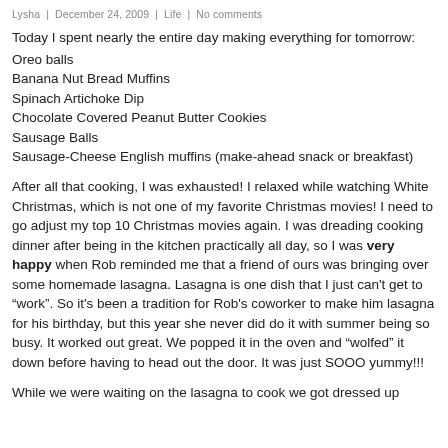Lysha  |  December 24, 2009  |  Life  |  No comments
Today I spent nearly the entire day making everything for tomorrow:
Oreo balls
Banana Nut Bread Muffins
Spinach Artichoke Dip
Chocolate Covered Peanut Butter Cookies
Sausage Balls
Sausage-Cheese English muffins (make-ahead snack or breakfast)
After all that cooking, I was exhausted! I relaxed while watching White Christmas, which is not one of my favorite Christmas movies! I need to go adjust my top 10 Christmas movies again. I was dreading cooking dinner after being in the kitchen practically all day, so I was very happy when Rob reminded me that a friend of ours was bringing over some homemade lasagna. Lasagna is one dish that I just can’t get to “work”. So it’s been a tradition for Rob’s coworker to make him lasagna for his birthday, but this year she never did do it with summer being so busy. It worked out great. We popped it in the oven and “wolfed” it down before having to head out the door. It was just SOOO yummy!!!
While we were waiting on the lasagna to cook we got dressed up